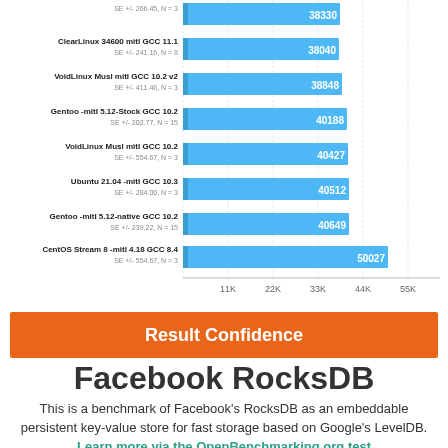[Figure (bar-chart): RocksDB Benchmark Results]
Result Confidence
Facebook RocksDB
This is a benchmark of Facebook's RocksDB as an embeddable persistent key-value store for fast storage based on Google's LevelDB. Learn more via the OpenBenchmarking.org test